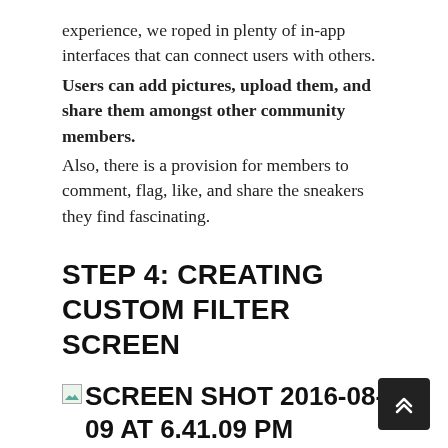experience, we roped in plenty of in-app interfaces that can connect users with others. Users can add pictures, upload them, and share them amongst other community members. Also, there is a provision for members to comment, flag, like, and share the sneakers they find fascinating.
STEP 4: CREATING CUSTOM FILTER SCREEN
[Figure (screenshot): Broken image placeholder with label: SCREEN SHOT 2016-08-09 AT 6.41.09 PM]